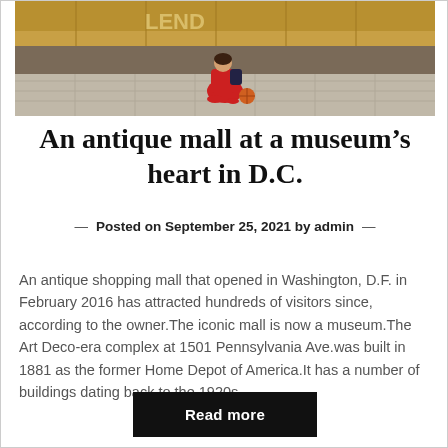[Figure (photo): A child in a red outfit sitting on the floor of what appears to be a museum or large indoor space, with colorful wall panels in the background.]
An antique mall at a museum’s heart in D.C.
—   Posted on September 25, 2021 by admin   —
An antique shopping mall that opened in Washington, D.F. in February 2016 has attracted hundreds of visitors since, according to the owner.The iconic mall is now a museum.The Art Deco-era complex at 1501 Pennsylvania Ave.was built in 1881 as the former Home Depot of America.It has a number of buildings dating back to the 1920s,...
Read more